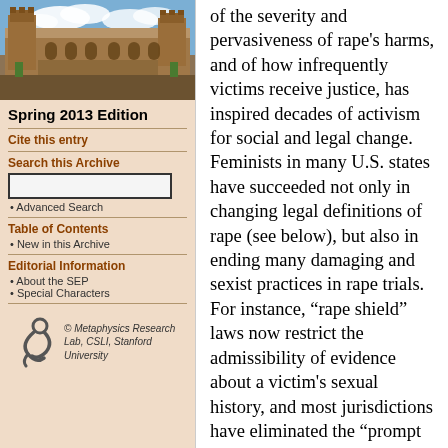[Figure (photo): Photograph of a university building (stone architecture with towers and courtyard) against a blue sky with clouds]
Spring 2013 Edition
Cite this entry
Search this Archive
Advanced Search
Table of Contents
New in this Archive
Editorial Information
About the SEP
Special Characters
[Figure (logo): Metaphysics Research Lab, CSLI, Stanford University logo with stylized figure]
of the severity and pervasiveness of rape's harms, and of how infrequently victims receive justice, has inspired decades of activism for social and legal change. Feminists in many U.S. states have succeeded not only in changing legal definitions of rape (see below), but also in ending many damaging and sexist practices in rape trials. For instance, “rape shield” laws now restrict the admissibility of evidence about a victim's sexual history, and most jurisdictions have eliminated the “prompt reporting” requirement, the corroboration requirement, and the reciting of the traditional